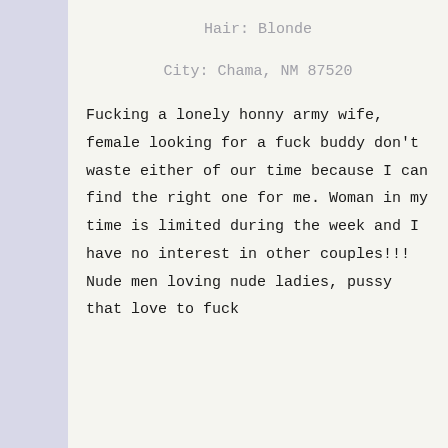Hair: Blonde
City: Chama, NM 87520
Fucking a lonely honny army wife, female looking for a fuck buddy don't waste either of our time because I can find the right one for me. Woman in my time is limited during the week and I have no interest in other couples!!! Nude men loving nude ladies, pussy that love to fuck